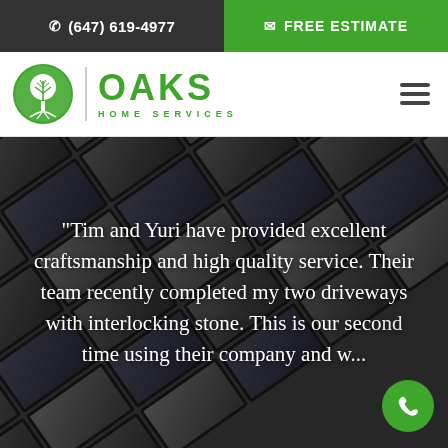(647) 619-4977 | FREE ESTIMATE
[Figure (logo): Oaks Home Services logo — circular green tree emblem with OAKS in large green letters and HOME SERVICES subtitle]
"Tim and Yuri have provided excellent craftsmanship and high quality service. Their team recently completed my two driveways with interlocking stone. This is our second time using their company and w...
[Figure (photo): Close-up photograph of dark grey interlocking stone/paver bricks arranged in a diagonal basket-weave pattern, serving as the hero background image]